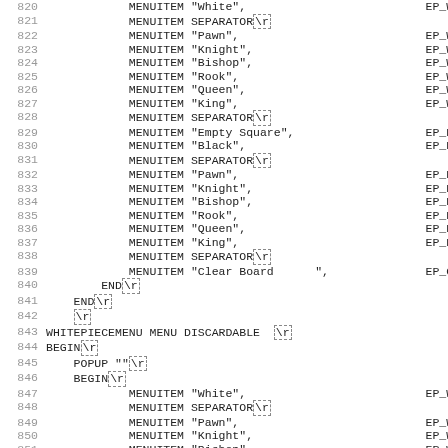Code listing lines 820-851: Menu resource definitions for chess piece menus (WHITEPIECEMENU), including MENUITEM entries for White, Pawn, Knight, Bishop, Rook, Queen, King, Empty Square, Black pieces, Clear Board, and BEGIN/END/POPUP structure.